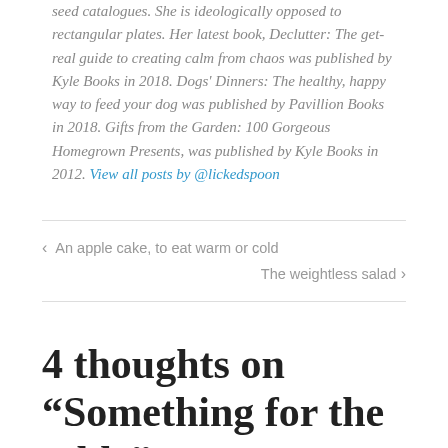seed catalogues. She is ideologically opposed to rectangular plates. Her latest book, Declutter: The get-real guide to creating calm from chaos was published by Kyle Books in 2018. Dogs' Dinners: The healthy, happy way to feed your dog was published by Pavillion Books in 2018. Gifts from the Garden: 100 Gorgeous Homegrown Presents, was published by Kyle Books in 2012. View all posts by @lickedspoon
An apple cake, to eat warm or cold
The weightless salad
4 thoughts on “Something for the table”